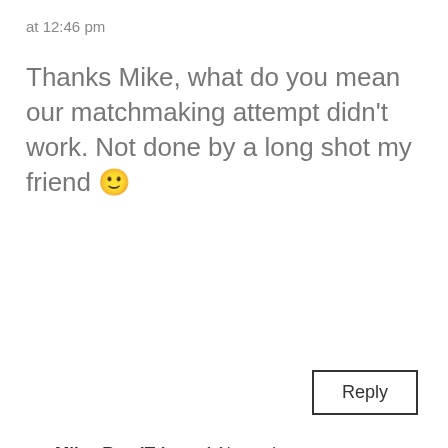at 12:46 pm
Thanks Mike, what do you mean our matchmaking attempt didn't work. Not done by a long shot my friend 🙂
Reply
MikesRoadTrip on 1 November, 2016 at 7:33 am
Ha! You mean in general, or with that particular